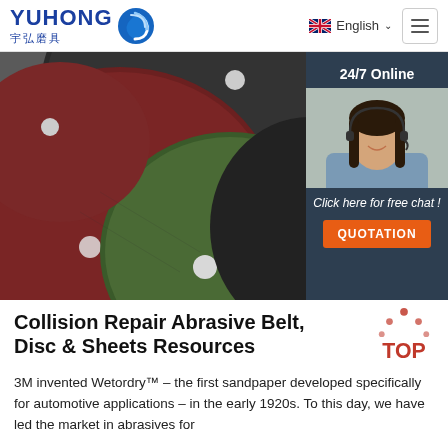YUHONG 宇弘磨具 | English | Menu
[Figure (photo): Photo of multiple abrasive grinding discs in various colors (dark grey, maroon/red, green) stacked and overlapping, with a 24/7 Online customer service widget on the right showing a smiling female agent with headset, 'Click here for free chat!' text, and an orange QUOTATION button.]
Collision Repair Abrasive Belt, Disc & Sheets Resources
3M invented Wetordry™ – the first sandpaper developed specifically for automotive applications – in the early 1920s. To this day, we have led the market in abrasives for